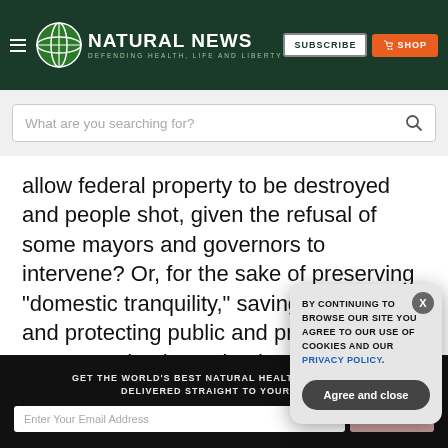NATURAL NEWS — DEFENDING HEALTH, LIFE AND LIBERTY
allow federal property to be destroyed and people shot, given the refusal of some mayors and governors to intervene? Or, for the sake of preserving "domestic tranquility," saving human life, and protecting public and private property take the action he has taken?
GET THE WORLD'S BEST NATURAL HEALTH NEWSLETTER DELIVERED STRAIGHT TO YOUR INBOX
BY CONTINUING TO BROWSE OUR SITE YOU AGREE TO OUR USE OF COOKIES AND OUR PRIVACY POLICY.